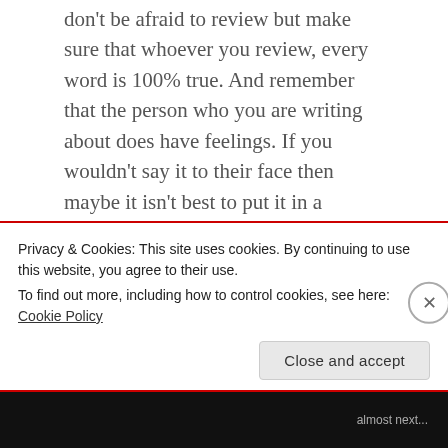don't be afraid to review but make sure that whoever you review, every word is 100% true. And remember that the person who you are writing about does have feelings. If you wouldn't say it to their face then maybe it isn't best to put it in a review.
Any way, hope everyone is having a great day and I will see you next time. Bye!
Share this:
Privacy & Cookies: This site uses cookies. By continuing to use this website, you agree to their use.
To find out more, including how to control cookies, see here: Cookie Policy
Close and accept